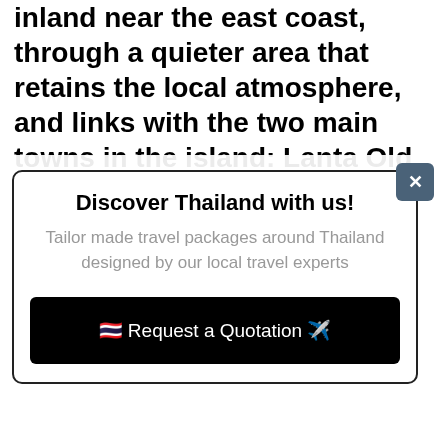inland near the east coast, through a quieter area that retains the local atmosphere, and links with the two main towns in the island: Lanta Old Town and the fishing village of Sang Ga U, inhabited by the Chao Lei, also
[Figure (screenshot): A modal popup with title 'Discover Thailand with us!', subtitle 'Tailor made travel packages around Thailand designed by our local travel experts', a close button (X) in top right corner, and a black button 'Request a Quotation' with Thai flag and airplane emoji.]